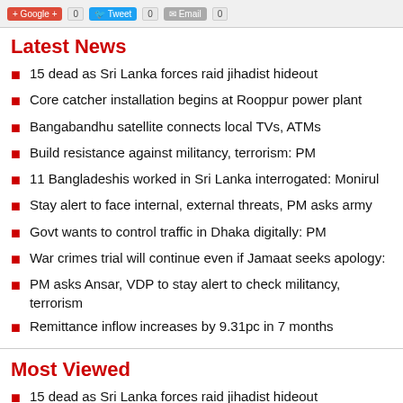Google + 0  Tweet 0  Email 0
Latest News
15 dead as Sri Lanka forces raid jihadist hideout
Core catcher installation begins at Rooppur power plant
Bangabandhu satellite connects local TVs, ATMs
Build resistance against militancy, terrorism: PM
11 Bangladeshis worked in Sri Lanka interrogated: Monirul
Stay alert to face internal, external threats, PM asks army
Govt wants to control traffic in Dhaka digitally: PM
War crimes trial will continue even if Jamaat seeks apology:
PM asks Ansar, VDP to stay alert to check militancy, terrorism
Remittance inflow increases by 9.31pc in 7 months
Most Viewed
15 dead as Sri Lanka forces raid jihadist hideout